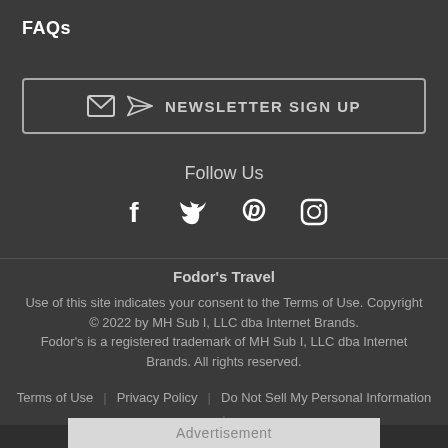FAQs
NEWSLETTER SIGN UP
Follow Us
[Figure (illustration): Social media icons: Facebook, Twitter, Pinterest, Instagram]
Fodor's Travel
Use of this site indicates your consent to the Terms of Use. Copyright © 2022 by MH Sub I, LLC dba Internet Brands. Fodor's is a registered trademark of MH Sub I, LLC dba Internet Brands. All rights reserved.
Terms of Use | Privacy Policy | Do Not Sell My Personal Information |
Advertisement